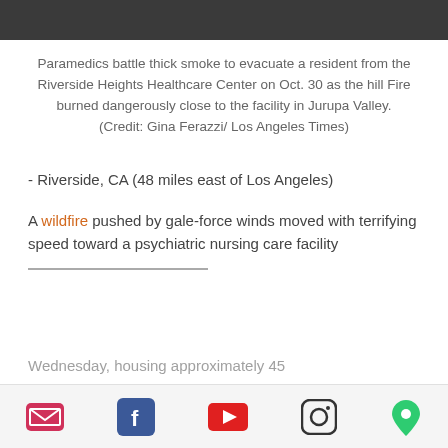Paramedics battle thick smoke to evacuate a resident from the Riverside Heights Healthcare Center on Oct. 30 as the hill Fire burned dangerously close to the facility in Jurupa Valley. (Credit: Gina Ferazzi/ Los Angeles Times)
- Riverside, CA (48 miles east of Los Angeles)
A wildfire pushed by gale-force winds moved with terrifying speed toward a psychiatric nursing care facility Wednesday, housing approximately 45